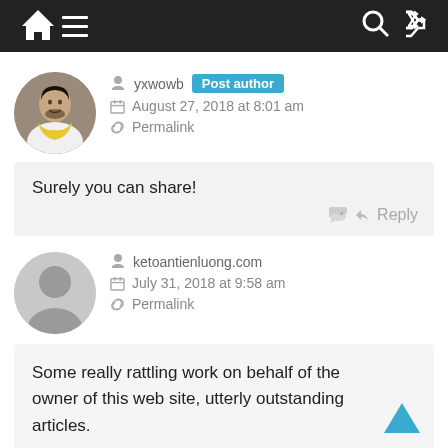[Figure (screenshot): Navigation bar with home icon, hamburger menu, search icon, and shuffle icon on dark background]
yxwowb Post author
August 27, 2018 at 8:01 am
Permalink
Surely you can share!
Reply
ketoantienluong.com
July 31, 2018 at 9:58 am
Permalink
Some really rattling work on behalf of the owner of this web site, utterly outstanding articles.